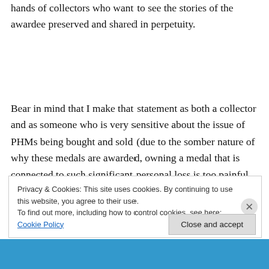has personally photographed for this book are in the hands of collectors who want to see the stories of the awardee preserved and shared in perpetuity.
Bear in mind that I make that statement as both a collector and as someone who is very sensitive about the issue of PHMs being bought and sold (due to the somber nature of why these medals are awarded, owning a medal that is connected to such significant personal loss is too painful
Privacy & Cookies: This site uses cookies. By continuing to use this website, you agree to their use.
To find out more, including how to control cookies, see here: Cookie Policy
Close and accept